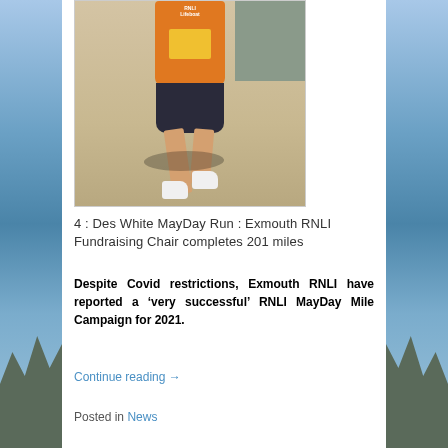[Figure (photo): A runner wearing an orange RNLI Lifeboat vest and dark patterned shorts, running on a pavement in bright sunlight. The runner's legs and lower body are visible. White trainers, shadow visible on ground.]
4 : Des White MayDay Run : Exmouth RNLI Fundraising Chair completes 201 miles
Despite Covid restrictions, Exmouth RNLI have reported a ‘very successful’ RNLI MayDay Mile Campaign for 2021.
Continue reading →
Posted in News